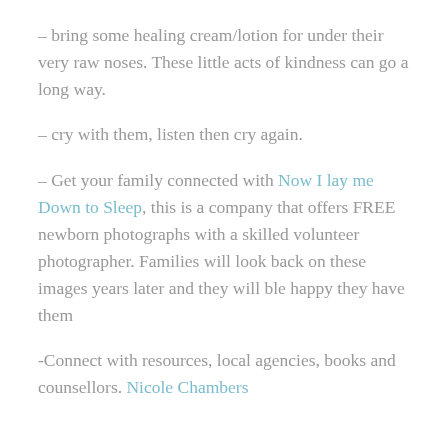– bring some healing cream/lotion for under their very raw noses. These little acts of kindness can go a long way.
– cry with them, listen then cry again.
– Get your family connected with Now I lay me Down to Sleep, this is a company that offers FREE newborn photographs with a skilled volunteer photographer. Families will look back on these images years later and they will ble happy they have them
-Connect with resources, local agencies, books and counsellors. Nicole Chambers